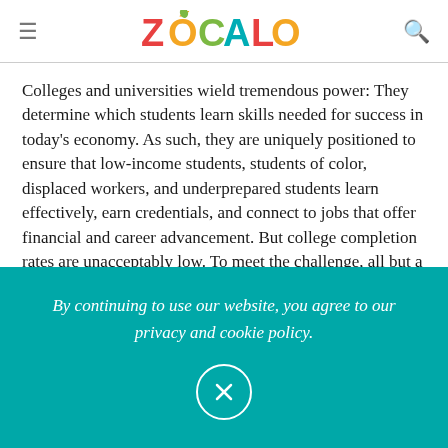ZÓCALO
Colleges and universities wield tremendous power: They determine which students learn skills needed for success in today's economy. As such, they are uniquely positioned to ensure that low-income students, students of color, displaced workers, and underprepared students learn effectively, earn credentials, and connect to jobs that offer financial and career advancement. But college completion rates are unacceptably low. To meet the challenge, all but a few need to redesign almost everything they do.
By continuing to use our website, you agree to our privacy and cookie policy.